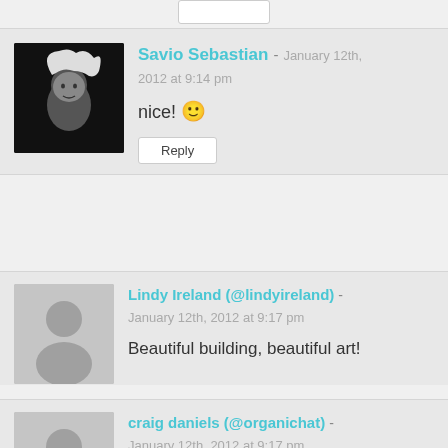[Figure (photo): User avatar photo of Savio Sebastian - person with windswept hair]
Savio Sebastian - January 12th, 2012 at 9:14 pm
nice! 🙂
Reply
[Figure (illustration): Generic user avatar silhouette placeholder]
Lindy Ireland (@lindyireland) - January 12th, 2012 at 9:17 pm
Beautiful building, beautiful art!
Reply
[Figure (illustration): Generic user avatar silhouette placeholder]
craig daniels (@organichat) - January 12th, 2012 at 9:17 pm
A very nice post and presentation, thanks for sharing it...